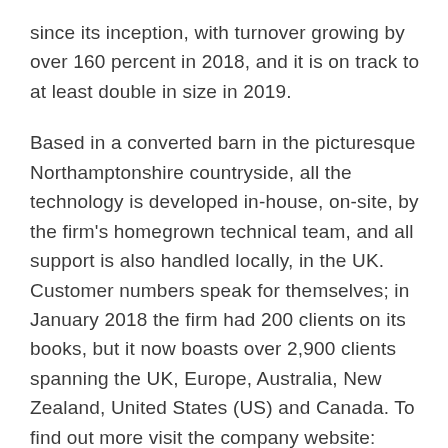since its inception, with turnover growing by over 160 percent in 2018, and it is on track to at least double in size in 2019.
Based in a converted barn in the picturesque Northamptonshire countryside, all the technology is developed in-house, on-site, by the firm's homegrown technical team, and all support is also handled locally, in the UK. Customer numbers speak for themselves; in January 2018 the firm had 200 clients on its books, but it now boasts over 2,900 clients spanning the UK, Europe, Australia, New Zealand, United States (US) and Canada. To find out more visit the company website: https://signinapp.com/
About Bouncepad